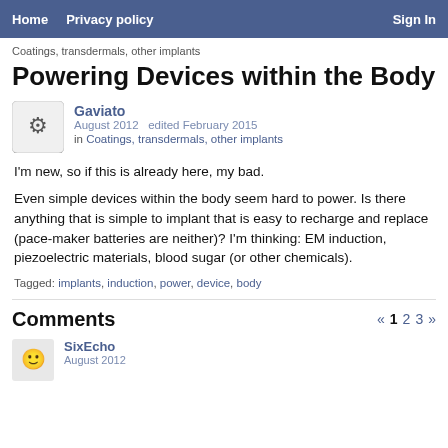Home  Privacy policy  Sign In
Coatings, transdermals, other implants
Powering Devices within the Body
Gaviato
August 2012  edited February 2015
in Coatings, transdermals, other implants
I'm new, so if this is already here, my bad.
Even simple devices within the body seem hard to power. Is there anything that is simple to implant that is easy to recharge and replace (pace-maker batteries are neither)? I'm thinking: EM induction, piezoelectric materials, blood sugar (or other chemicals).
Tagged: implants, induction, power, device, body
Comments
SixEcho
August 2012